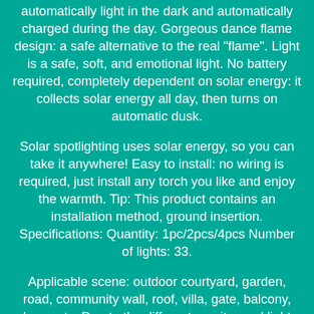automatically light in the dark and automatically charged during the day. Gorgeous dance flame design: a safe alternative to the real "flame". Light is a safe, soft, and emotional light. No battery required, completely dependent on solar energy: it collects solar energy all day, then turns on automatic dusk.
Solar spotlighting uses solar energy, so you can take it anywhere! Easy to install: no wiring is required, just install any torch you like and enjoy the warmth. Tip: This product contains an installation method, ground insertion. Specifications: Quantity: 1pc/2pcs/4pcs Number of lights: 33.
Applicable scene: outdoor courtyard, garden, road, community wall, roof, villa, gate, balcony, lawn, etc. Due to the different monitor and light effect, the actual color of the item might be slightly different from the color showed on the pictures. Please allow 1-3cm measuring deviation due to manual measurement. 1/2/4 X Solar Flame Lights.
Please contact me before you return it. If item is